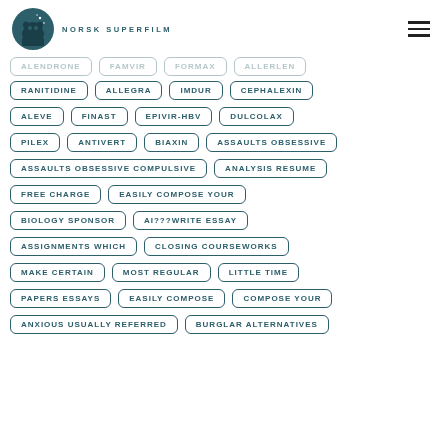NORSK SUPERFILM
RANITIDINE | ALLEGRA | IMDUR | CEPHALEXIN
ALEVE | FINAST | EPIVIR-HBV | DULCOLAX
PILEX | ANTIVERT | BIAXIN | ASSAULTS OBSESSIVE
ASSAULTS OBSESSIVE COMPULSIVE | ANALYSIS RESUME
FREE CHARGE | EASILY COMPOSE YOUR
BIOLOGY SPONSOR | AI???WRITE ESSAY
ASSIGNMENTS WHICH | CLOSING COURSEWORKS
MAKE CERTAIN | MOST REGULAR | LITTLE TIME
PAPERS ESSAYS | EASILY COMPOSE | COMPOSE YOUR
ANXIOUS USUALLY REFERRED | BURGLAR ALTERNATIVES